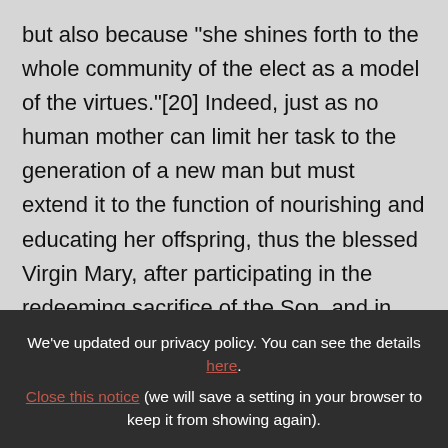but also because "she shines forth to the whole community of the elect as a model of the virtues."[20] Indeed, just as no human mother can limit her task to the generation of a new man but must extend it to the function of nourishing and educating her offspring, thus the blessed Virgin Mary, after participating in the redeeming sacrifice of the Son, and in such an intimate way as to deserve to be proclaimed by Him the Mother not only
We've updated our privacy policy. You can see the details here. Close this notice (we will save a setting in your browser to keep it from showing again).